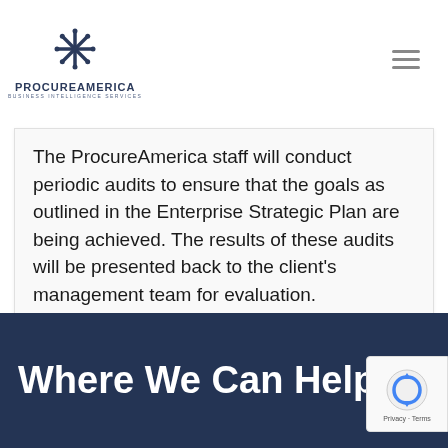ProcureAmerica Business Intelligence Services
The ProcureAmerica staff will conduct periodic audits to ensure that the goals as outlined in the Enterprise Strategic Plan are being achieved. The results of these audits will be presented back to the client's management team for evaluation.
Where We Can Help